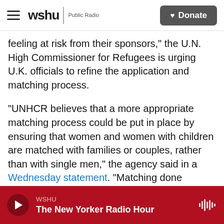wshu | Public Radio  [Donate button]
feeling at risk from their sponsors," the U.N. High Commissioner for Refugees is urging U.K. officials to refine the application and matching process.
"UNHCR believes that a more appropriate matching process could be put in place by ensuring that women and women with children are matched with families or couples, rather than with single men," the agency said in a Wednesday statement. "Matching done without the appropriate oversight may lead to increasing the risks women may face, in addition to the trauma of displacement, family separation and violence already experienced."
WSHU / The New Yorker Radio Hour